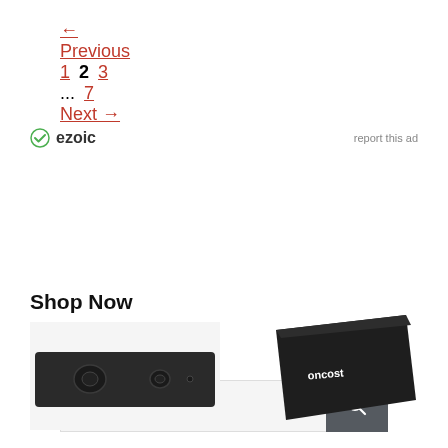← Previous  1  2  3  ...  7  Next →
[Figure (logo): Ezoic logo with green checkmark icon and bold 'ezoic' text, plus 'report this ad' link on the right]
Search ...
Shop Now
[Figure (photo): Dark rectangular speaker/audio panel product photo]
[Figure (photo): Dark angled electronic device product photo with logo]